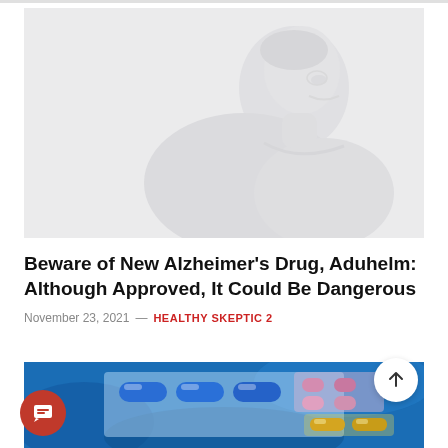[Figure (photo): Faded/washed-out image of an elderly person viewed from the side, sitting or leaning, with light gray tones suggesting an older man with white hair]
Beware of New Alzheimer's Drug, Aduhelm: Although Approved, It Could Be Dangerous
November 23, 2021 — HEALTHY SKEPTIC 2
[Figure (photo): Photo of blister packs of medicine/pills on a blue background — blue capsules, pink/white tablets, and yellow capsules visible in clear plastic packaging]